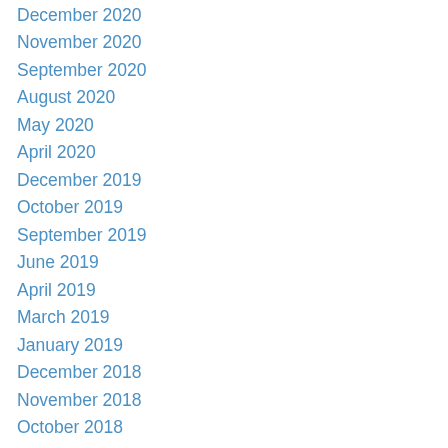December 2020
November 2020
September 2020
August 2020
May 2020
April 2020
December 2019
October 2019
September 2019
June 2019
April 2019
March 2019
January 2019
December 2018
November 2018
October 2018
August 2018
June 2018
April 2018
March 2018